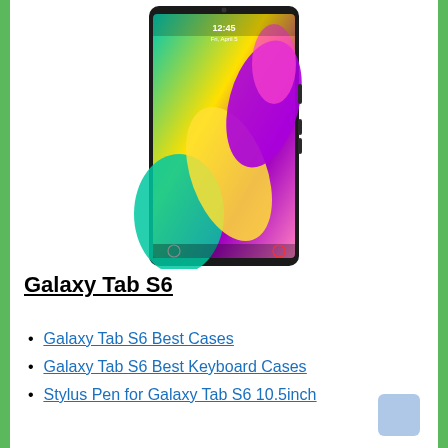[Figure (photo): Samsung Galaxy Tab S6 tablet displaying lock screen with time 12:45 Fri, April 5, showing a colorful abstract wallpaper with teal, yellow, purple, and pink colors. The tablet is shown in a slight angle/perspective view with a black bezel.]
Galaxy Tab S6
Galaxy Tab S6 Best Cases
Galaxy Tab S6 Best Keyboard Cases
Stylus Pen for Galaxy Tab S6 10.5inch